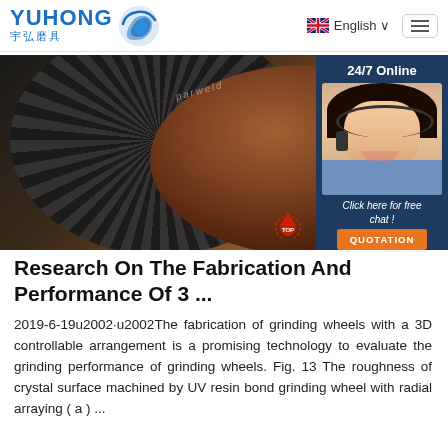[Figure (screenshot): Yuhong logo with blue wave icon and Chinese characters 宇弘磨具, navigation bar with English language selector and hamburger menu]
[Figure (photo): Close-up photo of grinding wheels (dark and copper-brown colored abrasive discs) with a 24/7 Online chat widget on the right showing a female customer service agent with headset, 'Click here for free chat!' text and QUOTATION button]
Research On The Fabrication And Performance Of 3 ...
2019-6-19u2002·u2002The fabrication of grinding wheels with a 3D controllable arrangement is a promising technology to evaluate the grinding performance of grinding wheels. Fig. 13 The roughness of crystal surface machined by UV resin bond grinding wheel with radial arraying ( a ) ...